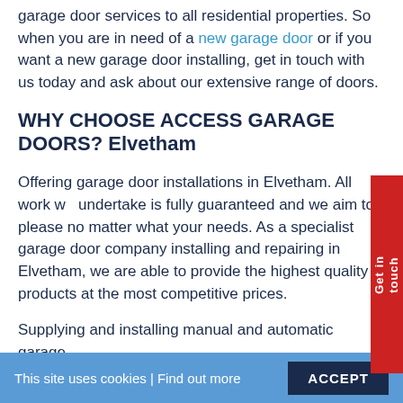garage door services to all residential properties. So when you are in need of a new garage door or if you want a new garage door installing, get in touch with us today and ask about our extensive range of doors.
WHY CHOOSE ACCESS GARAGE DOORS? Elvetham
Offering garage door installations in Elvetham. All work we undertake is fully guaranteed and we aim to please no matter what your needs. As a specialist garage door company installing and repairing in Elvetham, we are able to provide the highest quality products at the most competitive prices.
Supplying and installing manual and automatic garage doors...
This site uses cookies | Find out more
ACCEPT